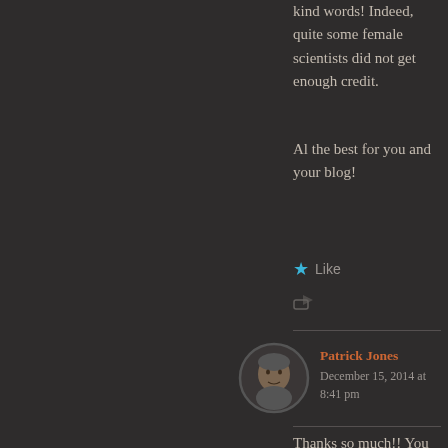kind words! Indeed, quite some female scientists did not get enough credit.
Al the best for you and your blog!
Like
Patrick Jones
December 15, 2014 at 8:41 pm
Thanks so much!! You as well! Merry Christmas!